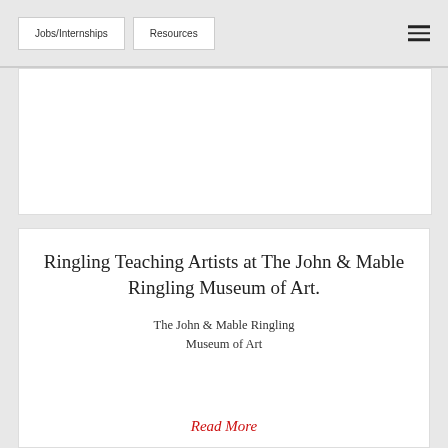Jobs/Internships  Resources
[Figure (other): White banner/image placeholder area]
Ringling Teaching Artists at The John & Mable Ringling Museum of Art.
The John & Mable Ringling Museum of Art
Read More